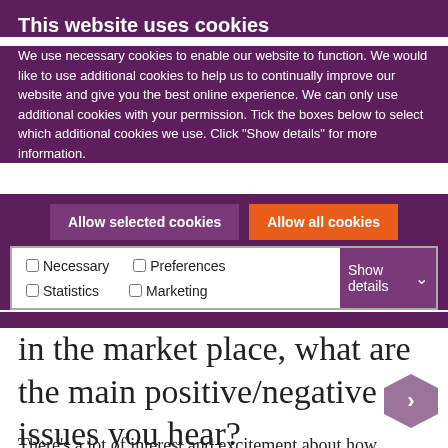This website uses cookies
We use necessary cookies to enable our website to function. We would like to use additional cookies to help us to continually improve our website and give you the best online experience. We can only use additional cookies with your permission. Tick the boxes below to select which additional cookies we use. Click "Show details" for more information.
Allow selected cookies | Allow all cookies
Necessary  Preferences  Statistics  Marketing  Show details
in the market place, what are the main positive/negative issues you hear?
There's a lot of interest and excitement about how tech solutions can help drive efficiency and therefore cost savings. However, it is often difficult to know which tech solution to trial as a lot of them are complex and can be very time-consuming to work out which one is best-suited to a particular client's problems.  Also, I often